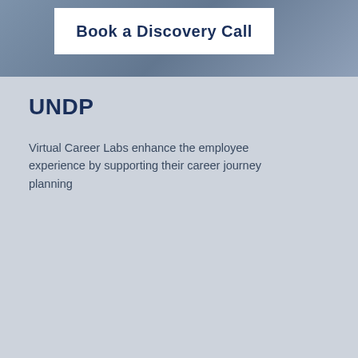[Figure (photo): Banner image with dark blue overlay showing a desk/office scene with a white button overlay reading 'Book a Discovery Call']
UNDP
Virtual Career Labs enhance the employee experience by supporting their career journey planning
Read Case Study
[Figure (infographic): A row of 9 pagination dots, first dot is dark navy, second is lighter grey-blue, remaining 7 are dark navy]